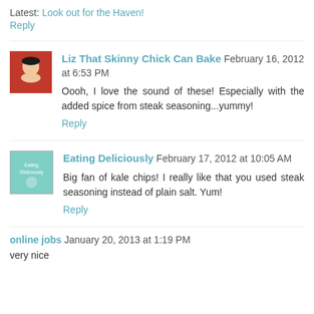Latest: Look out for the Haven!
Reply
Liz That Skinny Chick Can Bake  February 16, 2012 at 6:53 PM
Oooh, I love the sound of these! Especially with the added spice from steak seasoning...yummy!
Reply
Eating Deliciously  February 17, 2012 at 10:05 AM
Big fan of kale chips! I really like that you used steak seasoning instead of plain salt. Yum!
Reply
online jobs  January 20, 2013 at 1:19 PM
very nice